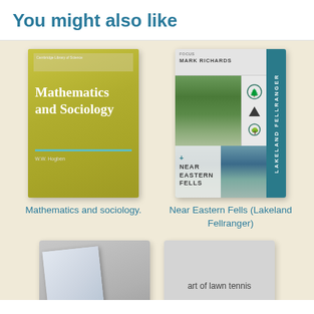You might also like
[Figure (photo): Book cover: Mathematics and Sociology]
Mathematics and sociology.
[Figure (photo): Book cover: Near Eastern Fells (Lakeland Fellranger)]
Near Eastern Fells (Lakeland Fellranger)
[Figure (photo): Partial book cover showing stacked books (Fighters Fifties)]
[Figure (photo): Partial book cover: art of lawn tennis]